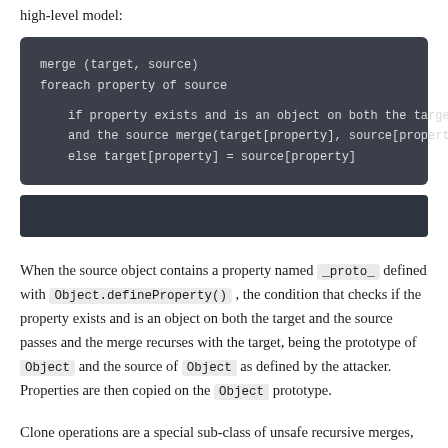The logic of a vulnerable recursive merge function follows the following high-level model:
[Figure (other): Dark bar/code block area]
When the source object contains a property named _proto_ defined with Object.defineProperty(), the condition that checks if the property exists and is an object on both the target and the source passes and the merge recurses with the target, being the prototype of Object and the source of Object as defined by the attacker. Properties are then copied on the Object prototype.
Clone operations are a special sub-class of unsafe recursive merges,